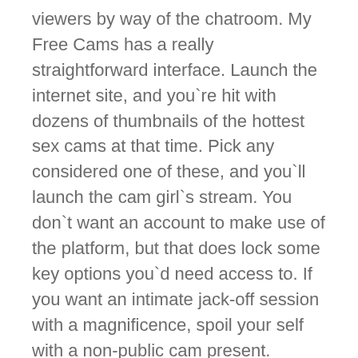viewers by way of the chatroom. My Free Cams has a really straightforward interface. Launch the internet site, and you`re hit with dozens of thumbnails of the hottest sex cams at that time. Pick any considered one of these, and you`ll launch the cam girl`s stream. You don`t want an account to make use of the platform, but that does lock some key options you`d need access to. If you want an intimate jack-off session with a magnificence, spoil your self with a non-public cam present.
Design Of Myfreecams
At the highest proper facet of the web